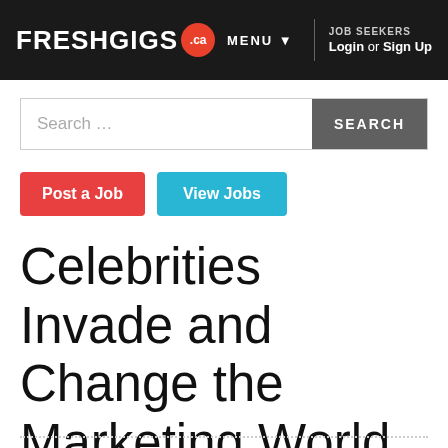[Figure (screenshot): FreshGigs.ca website header navigation bar with logo, MENU dropdown, and JOB SEEKERS Login or Sign Up links on dark background]
[Figure (screenshot): Search bar with placeholder text 'Search ...' and a dark SEARCH button]
[Figure (screenshot): Two call-to-action buttons: red 'Post a Job' and teal 'View Jobs']
Celebrities Invade and Change the Marketing World